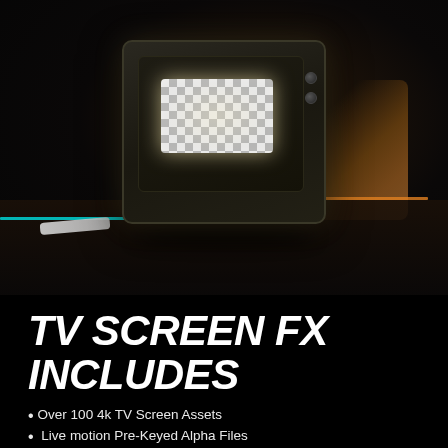[Figure (photo): A vintage/retro CRT television set photographed in a dark moody environment. The TV screen shows a transparent checkerboard pattern (alpha channel indicator). The scene has cyan/teal lighting on the left side and warm orange/amber lighting on the right. A white object (possibly a remote) lies on the surface to the left of the TV.]
TV SCREEN FX INCLUDES
Over 100 4k TV Screen Assets
Live motion Pre-Keyed Alpha Files
Transparent TV PNG Overlays
Analog Television Effect Overlays